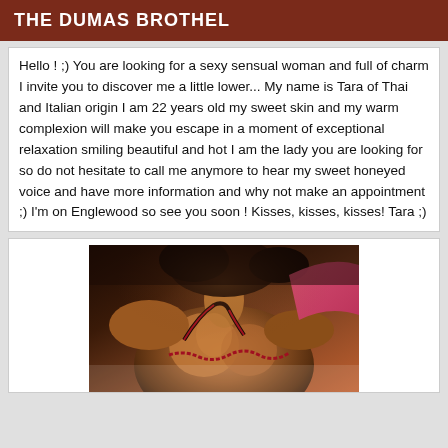THE DUMAS BROTHEL
Hello ! ;) You are looking for a sexy sensual woman and full of charm I invite you to discover me a little lower... My name is Tara of Thai and Italian origin I am 22 years old my sweet skin and my warm complexion will make you escape in a moment of exceptional relaxation smiling beautiful and hot I am the lady you are looking for so do not hesitate to call me anymore to hear my sweet honeyed voice and have more information and why not make an appointment ;) I'm on Englewood so see you soon ! Kisses, kisses, kisses! Tara ;)
[Figure (photo): Photo of a woman with dark skin wearing a black and red bikini top, shown from shoulders up, dark hair, selfie-style photo]